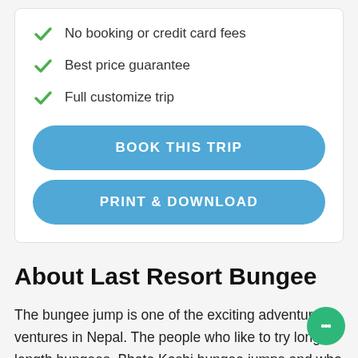No booking or credit card fees
Best price guarantee
Full customize trip
BOOK THIS TRIP
PRINT & DOWNLOAD
About Last Resort Bungee
The bungee jump is one of the exciting adventure ventures in Nepal. The people who like to try long length bungees, Bhote Koshi bungee jumps and who would like to try shorter ones, bungee in Pokhara recommended bungee jumps. Bhote Koshi bungee